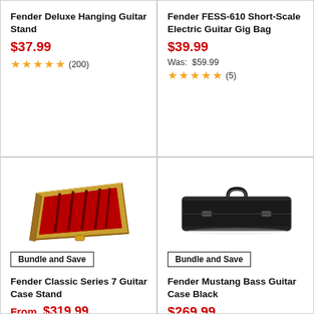Fender Deluxe Hanging Guitar Stand
$37.99
★★★★★ (200)
Fender FESS-610 Short-Scale Electric Guitar Gig Bag
$39.99
Was: $59.99
★★★★★ (5)
[Figure (photo): Fender Classic Series 7 Guitar Case Stand - open wood case with red velvet interior, angled display]
Bundle and Save
Fender Classic Series 7 Guitar Case Stand
From $319.99
[Figure (photo): Fender Mustang Bass Guitar Case Black - rectangular black hardshell guitar case with handle]
Bundle and Save
Fender Mustang Bass Guitar Case Black
$269.99